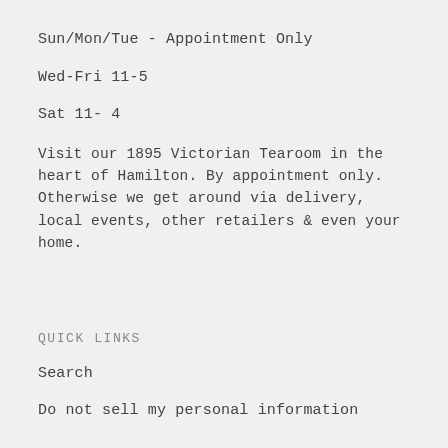Sun/Mon/Tue - Appointment Only
Wed-Fri 11-5
Sat 11- 4
Visit our 1895 Victorian Tearoom in the heart of Hamilton. By appointment only. Otherwise we get around via delivery, local events, other retailers & even your home.
Quick Links
Search
Do not sell my personal information